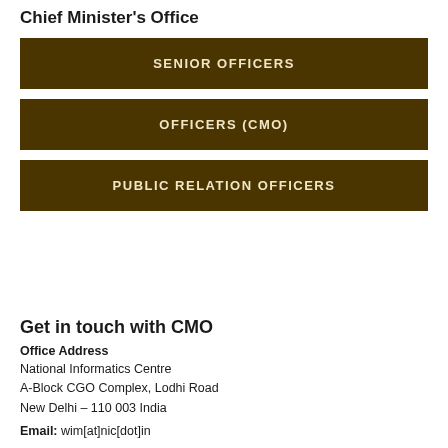Chief Minister's Office
SENIOR OFFICERS
OFFICERS (CMO)
PUBLIC RELATION OFFICERS
Get in touch with CMO
Office Address
National Informatics Centre
A-Block CGO Complex, Lodhi Road
New Delhi – 110 003 India
Email: wim[at]nic[dot]in